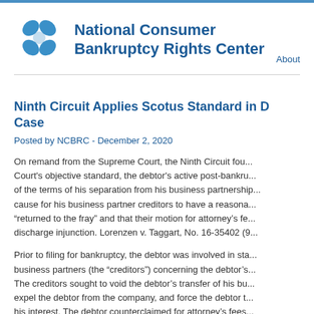[Figure (logo): National Consumer Bankruptcy Rights Center logo - blue interlocking circles/petals design]
National Consumer Bankruptcy Rights Center
About
Ninth Circuit Applies Scotus Standard in D... Case
Posted by NCBRC - December 2, 2020
On remand from the Supreme Court, the Ninth Circuit fou... Court's objective standard, the debtor's active post-bankru... of the terms of his separation from his business partnership... cause for his business partner creditors to have a reasona... "returned to the fray" and that their motion for attorney's fe... discharge injunction. Lorenzen v. Taggart, No. 16-35402 (9...
Prior to filing for bankruptcy, the debtor was involved in sta... business partners (the "creditors") concerning the debtor's... The creditors sought to void the debtor's transfer of his bu... expel the debtor from the company, and force the debtor t... his interest. The debtor counterclaimed for attorney's fees... business agreement permitting fee shifting to the previli...